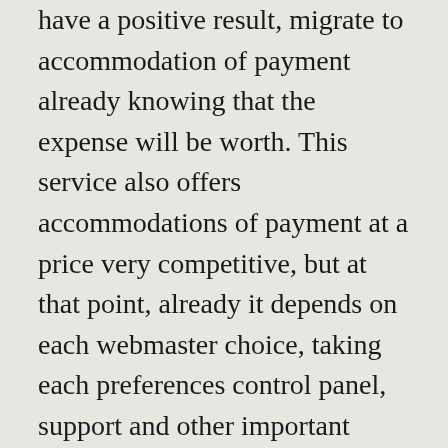have a positive result, migrate to accommodation of payment already knowing that the expense will be worth. This service also offers accommodations of payment at a price very competitive, but at that point, already it depends on each webmaster choice, taking each preferences control panel, support and other important points.
Also point out that 000webhost offers also support 24 h quite competent, and in my case they have been pretty fast, even if it is a completely free service. There are two modes, the first is to use our domain already registered in another register, and change the DNS to use this accommodation, or acquire an address of the type, being recommended without a doubt the first option. Features of this free hosting are as follows: 1, 5 Gb of disk space hosting Linux with servers Apache 100 Gb of monthly transfer 5 sub-